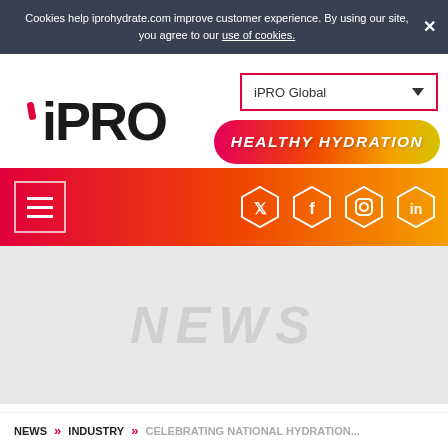Cookies help iprohydrate.com improve customer experience. By using our site, you agree to our use of cookies.
[Figure (logo): iPRO brand logo in black lettering with a red apostrophe accent]
iPRO Global
[Figure (infographic): Healthy Hydration banner with pink-to-yellow gradient and white italic bold text]
[Figure (infographic): Navigation bar with hamburger menu icon on left and social media icons (Twitter, Facebook, Instagram, LinkedIn) on right, on a pink-to-orange gradient background]
NEWS
NEWS » INDUSTRY » CELEBRATING NATIONAL HYDRATION...